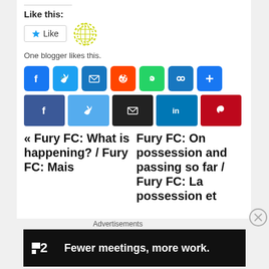Like this:
[Figure (screenshot): Like button with star icon and blogger avatar globe icon, text: One blogger likes this.]
[Figure (screenshot): Social share buttons row 1: Facebook, Twitter, Email, Reddit, WhatsApp, Link, Plus]
[Figure (screenshot): Social share buttons row 2 (right-aligned): Facebook, Twitter, Email, LinkedIn, Pinterest]
« Fury FC: What is happening? / Fury FC: Mais
Fury FC: On possession and passing so far / Fury FC: La possession et
Advertisements
[Figure (screenshot): Advertisement banner: Fewer meetings, more work. (Twist app)]